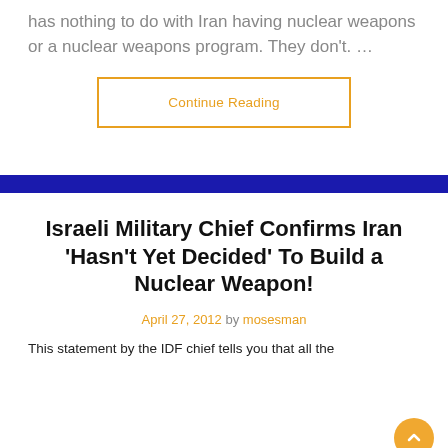has nothing to do with Iran having nuclear weapons or a nuclear weapons program. They don't. …
Continue Reading
Israeli Military Chief Confirms Iran 'Hasn't Yet Decided' To Build a Nuclear Weapon!
April 27, 2012 by mosesman
This statement by the IDF chief tells you that all the